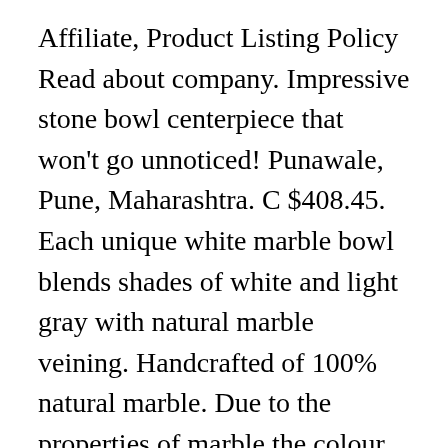Affiliate, Product Listing Policy Read about company. Impressive stone bowl centerpiece that won't go unnoticed! Punawale, Pune, Maharashtra. C $408.45. Each unique white marble bowl blends shades of white and light gray with natural marble veining. Handcrafted of 100% natural marble. Due to the properties of marble the colour and markings will differ between products. About 41% of these are bowls, 10% are dishes & plates, and 8% are other home decor. Get the best deals on Marble White Fruit Bowl Dinnerware Bowls when you shop the largest online selection at eBay.com. If there is any import duty, taxes and vat at the destination, it will be paid by the buyer. Free Shipping. Marble Bowls. Material: